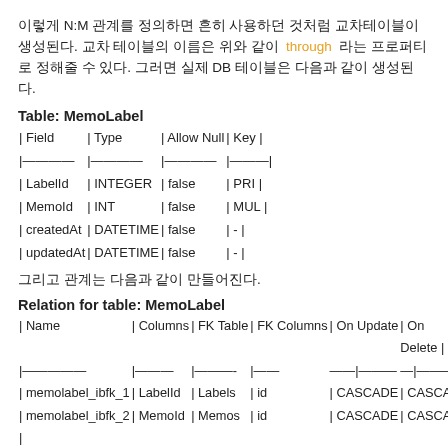이렇게 N:M 관계를 정의하면 흔히 사용하던 것처럼 교차테이블이 생성된다. 교차 테이블의 이름은 위와 같이 through 라는 프로퍼티로 정해줄 수 있다. 그러면 실제 DB 테이블은 다음과 같이 생성된다.
Table: MemoLabel
| Field | Type | Allow Null | Key |
| --- | --- | --- | --- |
| LabelId | INTEGER | false | PRI |
| MemoId | INT | false | MUL |
| createdAt | DATETIME | false | - |
| updatedAt | DATETIME | false | - |
그리고 관계는 다음과 같이 만들어진다.
Relation for table: MemoLabel
| Name | Columns | FK Table | FK Columns | On Update | On Delete |
| --- | --- | --- | --- | --- | --- |
| memolabel_ibfk_1 | LabelId | Labels | id | CASCADE | CASCADE |
| memolabel_ibfk_2 | MemoId | Memos | id | CASCADE | CASCADE |
이 뿐만 아니라 1:1 관계를 위한 hasOne(), belongsTo() 1:M 관계